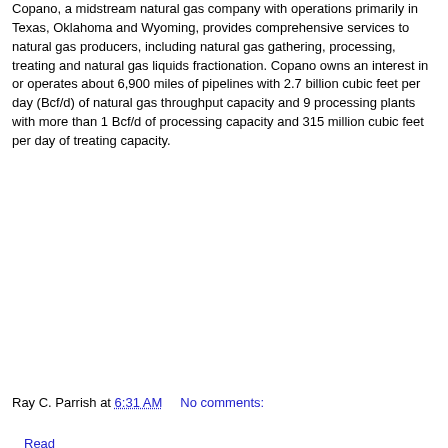Copano, a midstream natural gas company with operations primarily in Texas, Oklahoma and Wyoming, provides comprehensive services to natural gas producers, including natural gas gathering, processing, treating and natural gas liquids fractionation. Copano owns an interest in or operates about 6,900 miles of pipelines with 2.7 billion cubic feet per day (Bcf/d) of natural gas throughput capacity and 9 processing plants with more than 1 Bcf/d of processing capacity and 315 million cubic feet per day of treating capacity.
Read the Entire Press Release
Get our Free Trading Videos, Lessons and eBook today!
Ray C. Parrish at 6:31 AM    No comments: